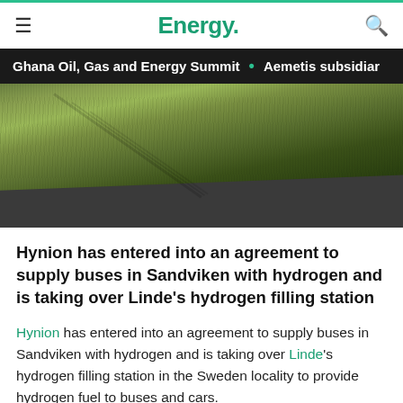Energy.
Ghana Oil, Gas and Energy Summit • Aemetis subsidiar
[Figure (photo): Aerial/ground-level photo of grass field and asphalt road surface with diagonal shadow lines across the grass]
Hynion has entered into an agreement to supply buses in Sandviken with hydrogen and is taking over Linde's hydrogen filling station
Hynion has entered into an agreement to supply buses in Sandviken with hydrogen and is taking over Linde's hydrogen filling station in the Sweden locality to provide hydrogen fuel to buses and cars.
With the acquisition of the hydrogen station in